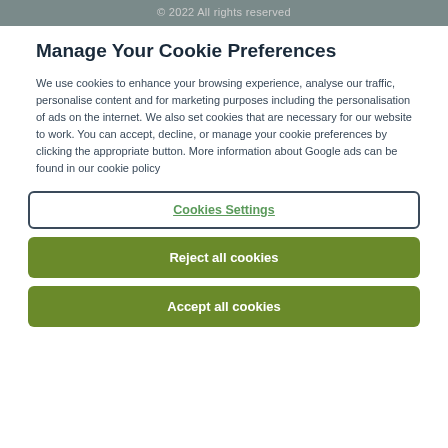© 2022 All rights reserved
Manage Your Cookie Preferences
We use cookies to enhance your browsing experience, analyse our traffic, personalise content and for marketing purposes including the personalisation of ads on the internet. We also set cookies that are necessary for our website to work. You can accept, decline, or manage your cookie preferences by clicking the appropriate button. More information about Google ads can be found in our cookie policy
Cookies Settings
Reject all cookies
Accept all cookies